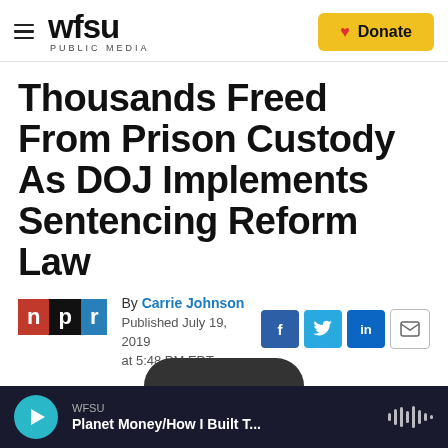WFSU PUBLIC MEDIA — Donate
Thousands Freed From Prison Custody As DOJ Implements Sentencing Reform Law
By Carrie Johnson
Published July 19, 2019 at 5:48 PM EDT
WFSU — Planet Money/How I Built T...